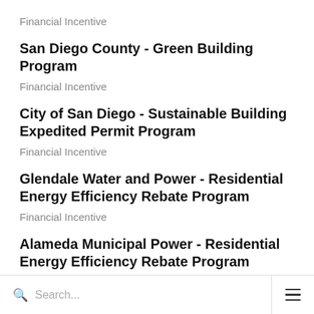Financial Incentive
San Diego County - Green Building Program
Financial Incentive
City of San Diego - Sustainable Building Expedited Permit Program
Financial Incentive
Glendale Water and Power - Residential Energy Efficiency Rebate Program
Financial Incentive
Alameda Municipal Power - Residential Energy Efficiency Rebate Program
Search...